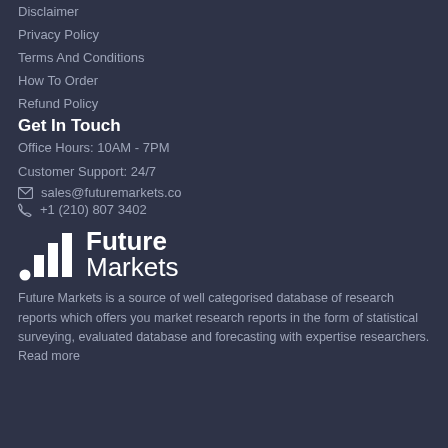Disclaimer
Privacy Policy
Terms And Conditions
How To Order
Refund Policy
Get In Touch
Office Hours: 10AM - 7PM
Customer Support: 24/7
✉ sales@futuremarkets.co
✆ +1 (210) 807 3402
[Figure (logo): Future Markets logo with bar chart icon and text 'Future Markets']
Future Markets is a source of well categorised database of research reports which offers you market research reports in the form of statistical surveying, evaluated database and forecasting with expertise researchers. Read more